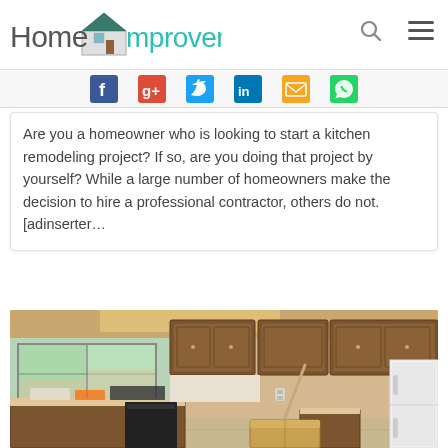HomeImprovementz
[Figure (logo): HomeImprovementz logo with house graphic, teal and grey text]
[Figure (infographic): Social media share icons: Facebook, Google+, Twitter, LinkedIn, Email, WhatsApp]
Are you a homeowner who is looking to start a kitchen remodeling project? If so, are you doing that project by yourself? While a large number of homeowners make the decision to hire a professional contractor, others do not. [adinserter...
[Figure (photo): Kitchen mid-remodel showing wooden cabinets, tools on countertops, black dishwasher, cardboard box on floor, and partial white refrigerator]